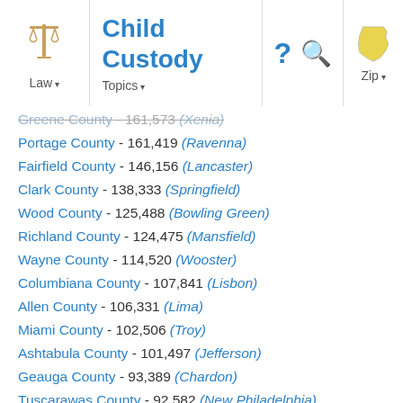Child Custody | Law | Topics | Zip
Greene County - 161,573 (Xenia)
Portage County - 161,419 (Ravenna)
Fairfield County - 146,156 (Lancaster)
Clark County - 138,333 (Springfield)
Wood County - 125,488 (Bowling Green)
Richland County - 124,475 (Mansfield)
Wayne County - 114,520 (Wooster)
Columbiana County - 107,841 (Lisbon)
Allen County - 106,331 (Lima)
Miami County - 102,506 (Troy)
Ashtabula County - 101,497 (Jefferson)
Geauga County - 93,389 (Chardon)
Tuscarawas County - 92,582 (New Philadelphia)
Muskingum County - 86,074 (Zanesville)
Scioto County - 79,499 (Portsmouth)
Ross County - 78,064 (Chillicothe)